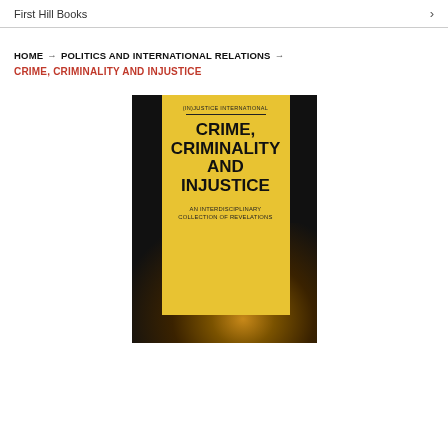First Hill Books
HOME → POLITICS AND INTERNATIONAL RELATIONS →
CRIME, CRIMINALITY AND INJUSTICE
[Figure (photo): Book cover for 'Crime, Criminality and Injustice: An Interdisciplinary Collection of Revelations' from the (In)Justice International series, featuring a yellow overlay panel with bold black title text over a dark background showing Earth from space at night with city lights visible.]